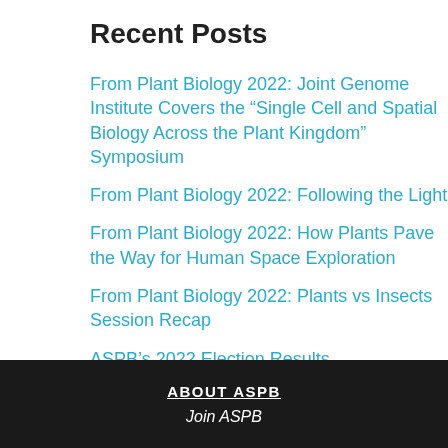Recent Posts
From Plant Biology 2022: Joint Genome Institute Covers the “Single Cell and Spatial Biology Across the Plant Kingdom” Symposium
From Plant Biology 2022: Following the Light
From Plant Biology 2022: How Plants Pave the Way for Human Space Exploration
From Plant Biology 2022: Plants vs Insects Session Recap
ASPB’s 2022 Election Results
ABOUT ASPB
Join ASPB